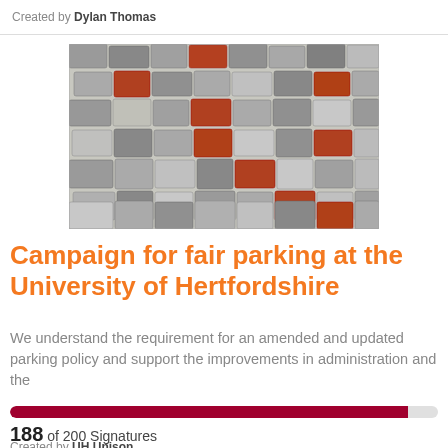Created by Dylan Thomas
[Figure (photo): Aerial view of a densely packed car park filled with many cars, a few red cars visible among predominantly grey and silver vehicles.]
Campaign for fair parking at the University of Hertfordshire
We understand the requirement for an amended and updated parking policy and support the improvements in administration and the
188 of 200 Signatures
Created by UH Unison